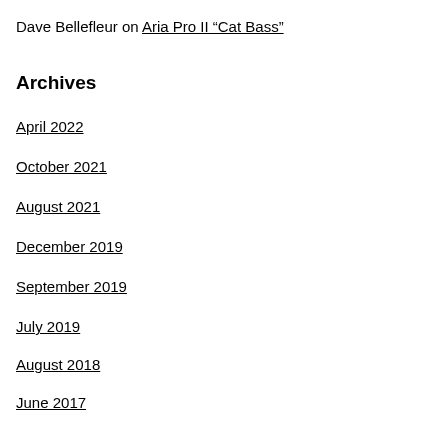Dave Bellefleur on Aria Pro II “Cat Bass”
Archives
April 2022
October 2021
August 2021
December 2019
September 2019
July 2019
August 2018
June 2017
April 2016
December 2015